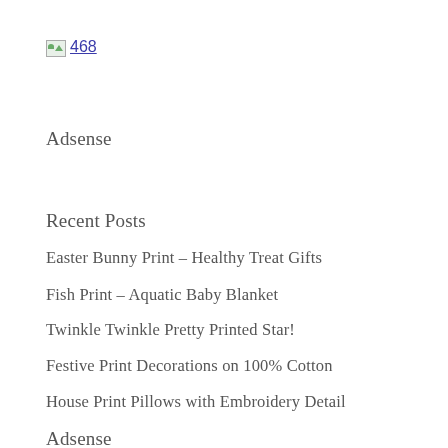[Figure (other): Broken image placeholder with label '468']
Adsense
Recent Posts
Easter Bunny Print – Healthy Treat Gifts
Fish Print – Aquatic Baby Blanket
Twinkle Twinkle Pretty Printed Star!
Festive Print Decorations on 100% Cotton
House Print Pillows with Embroidery Detail
Adsense